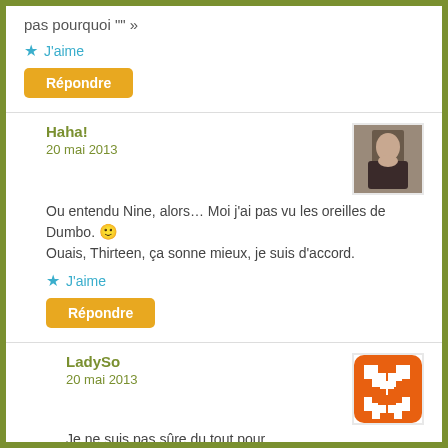pas pourquoi "" »
J'aime
Répondre
Haha!
20 mai 2013
Ou entendu Nine, alors… Moi j'ai pas vu les oreilles de Dumbo. 🙂
Ouais, Thirteen, ça sonne mieux, je suis d'accord.
J'aime
Répondre
LadySo
20 mai 2013
Je ne suis pas sûre du tout pour